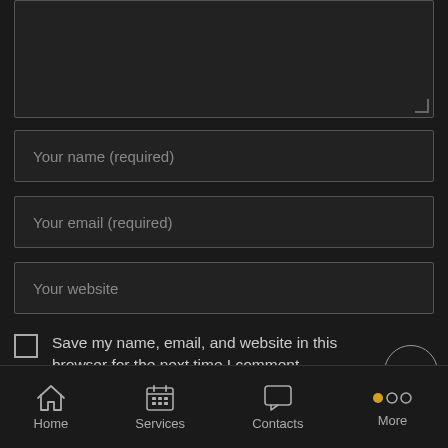[Figure (screenshot): Dark-themed comment form with a textarea (partially visible at top), three input fields labeled 'Your name (required)', 'Your email (required)', 'Your website', a checkbox with label 'Save my name, email, and website in this browser for the next time I comment.', a scroll-to-top circular button, and a POST COMMENT button. Below is a mobile navigation bar with Home, Services, Contacts, and More icons.]